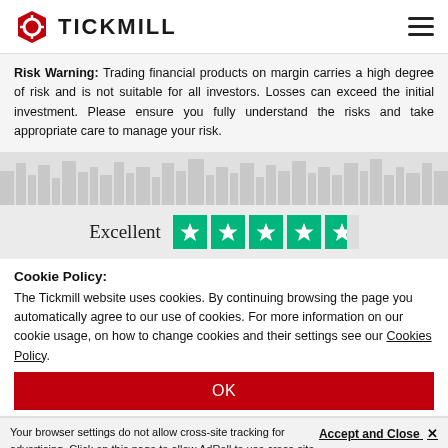[Figure (logo): Tickmill logo with red hexagon icon and bold TICKMILL text]
Risk Warning: Trading financial products on margin carries a high degree of risk and is not suitable for all investors. Losses can exceed the initial investment. Please ensure you fully understand the risks and take appropriate care to manage your risk.
[Figure (illustration): Greyscale cityscape silhouette background]
[Figure (infographic): Trustpilot rating: Excellent with 4.5 green stars]
Cookie Policy:
The Tickmill website uses cookies. By continuing browsing the page you automatically agree to our use of cookies. For more information on our cookie usage, on how to change cookies and their settings see our Cookies Policy.
OK
Accept and Close ✕
Your browser settings do not allow cross-site tracking for advertising. Click on this page to allow AdRoll to use cross-site tracking to tailor ads to you. Learn more or opt out of this AdRoll tracking by clicking here. This message only appears once.